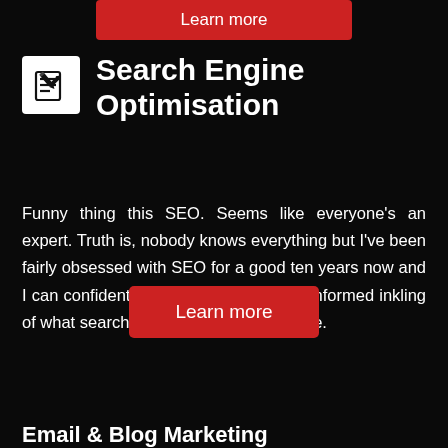[Figure (other): Partially visible red 'Learn more' button at the top of the page]
Search Engine Optimisation
Funny thing this SEO. Seems like everyone's an expert. Truth is, nobody knows everything but I've been fairly obsessed with SEO for a good ten years now and I can confidently say that I have a well-informed inkling of what search engines like and don't like.
[Figure (other): Red 'Learn more' button]
Email & Blog Marketing